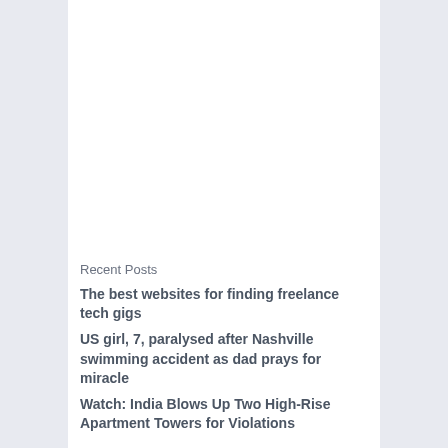Recent Posts
The best websites for finding freelance tech gigs
US girl, 7, paralysed after Nashville swimming accident as dad prays for miracle
Watch: India Blows Up Two High-Rise Apartment Towers for Violations